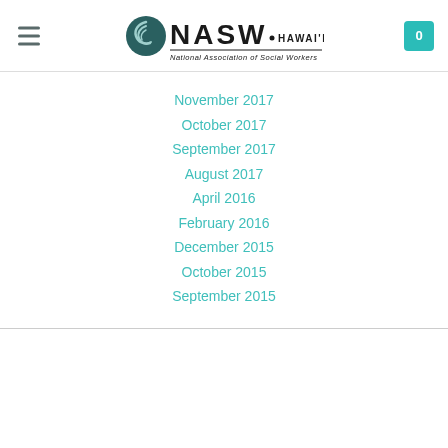NASW Hawaii Chapter — National Association of Social Workers
November 2017
October 2017
September 2017
August 2017
April 2016
February 2016
December 2015
October 2015
September 2015